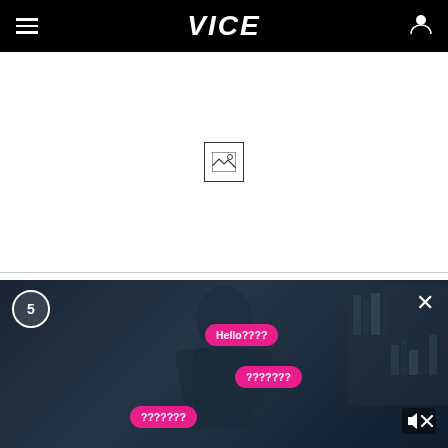VICE
[Figure (photo): Image placeholder icon showing mountain/landscape symbol in a square border]
Einstein’s theory of general relativity, in contrast, does explain gravitational forces on
[Figure (screenshot): Video overlay showing a person in a dark room with pink chat bubbles reading 'Hello????' and '???????' overlaid, a countdown timer showing 5, a close (X) button, and a mute button in the corner]